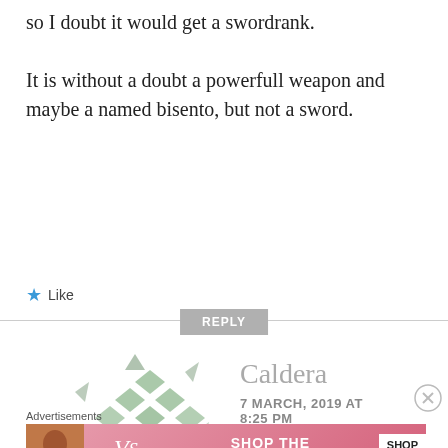so I doubt it would get a swordrank.

It is without a doubt a powerfull weapon and maybe a named bisento, but not a sword.
★ Like
REPLY
[Figure (illustration): Decorative avatar icon with geometric diamond/snowflake pattern in muted green/grey tones]
Caldera
7 MARCH, 2019 AT 8:25 PM
Advertisements
[Figure (infographic): Victoria's Secret advertisement banner with model photo, VS logo, 'SHOP THE COLLECTION' text, and 'SHOP NOW' button on pink background]